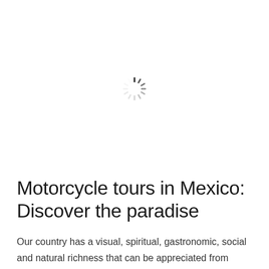[Figure (other): Loading spinner icon (circular dashed spinner) centered in the upper portion of the page]
Motorcycle tours in Mexico: Discover the paradise
Our country has a visual, spiritual, gastronomic, social and natural richness that can be appreciated from different points of view thanks to the versatility of the modes of transport. Thanks to this,